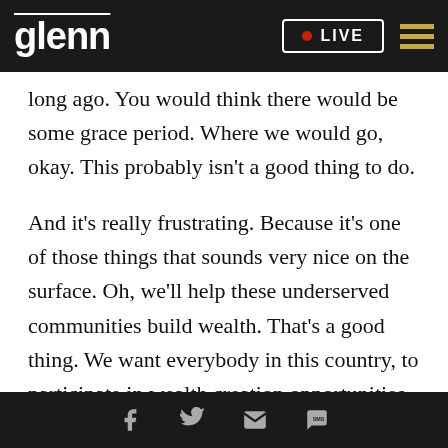glenn | LIVE
long ago. You would think there would be some grace period. Where we would go, okay. This probably isn't a good thing to do.
And it's really frustrating. Because it's one of those things that sounds very nice on the surface. Oh, we'll help these underserved communities build wealth. That's a good thing. We want everybody in this country, to participate in wealth creation opportunities. The last way that you do that, is at a point where we're having a top in the housing market. The bed is raising rates. We're heading into
Social share icons: Facebook, Twitter, Email, SMS